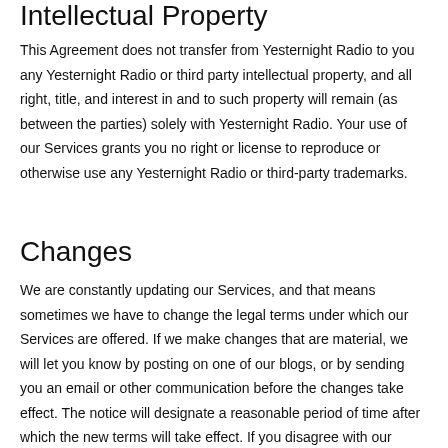Intellectual Property
This Agreement does not transfer from Yesternight Radio to you any Yesternight Radio or third party intellectual property, and all right, title, and interest in and to such property will remain (as between the parties) solely with Yesternight Radio. Your use of our Services grants you no right or license to reproduce or otherwise use any Yesternight Radio or third-party trademarks.
Changes
We are constantly updating our Services, and that means sometimes we have to change the legal terms under which our Services are offered. If we make changes that are material, we will let you know by posting on one of our blogs, or by sending you an email or other communication before the changes take effect. The notice will designate a reasonable period of time after which the new terms will take effect. If you disagree with our changes, then you